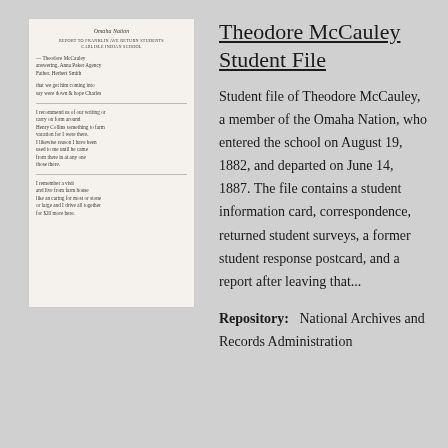[Figure (photo): A scanned handwritten document, appearing to be a historical student record or letter with cursive handwriting on aged paper]
Theodore McCauley Student File
Student file of Theodore McCauley, a member of the Omaha Nation, who entered the school on August 19, 1882, and departed on June 14, 1887. The file contains a student information card, correspondence, returned student surveys, a former student response postcard, and a report after leaving that...
Repository:   National Archives and Records Administration